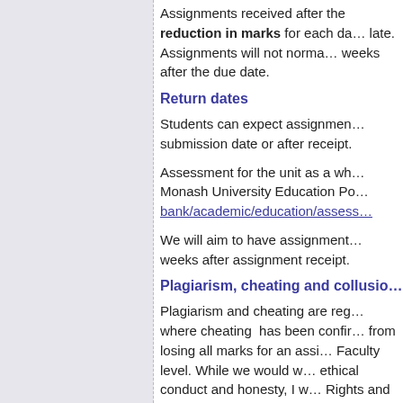Assignments received after the deadline will incur a reduction in marks for each day they are submitted late. Assignments will not normally be accepted two weeks after the due date.
Return dates
Students can expect assignments returned within the submission date or after receipt.
Assessment for the unit as a whole is governed by Monash University Education Policy. bank/academic/education/assess...
We will aim to have assignments returned within two weeks after assignment receipt.
Plagiarism, cheating and collusion
Plagiarism and cheating are regarded seriously. In cases where cheating has been confirmed, penalties range from losing all marks for an assignment to referral at Faculty level. While we would wish to encourage ethical conduct and honesty, I w... Rights and Responsibilities